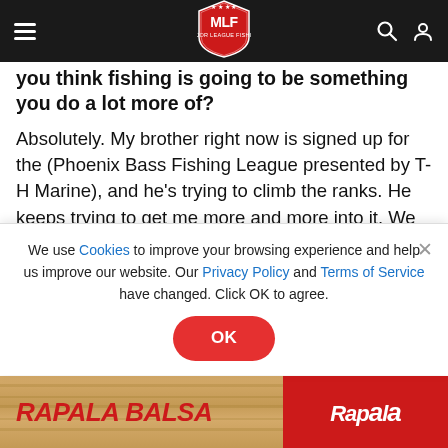MLF Major League Fishing navigation bar
you think fishing is going to be something you do a lot more of?
Absolutely. My brother right now is signed up for the (Phoenix Bass Fishing League presented by T-H Marine), and he's trying to climb the ranks. He keeps trying to get me more and more into it. We do little tournaments around here called Cash for Bass, so we have a blast in that. He's trying to climb the ranks, and once I have more time and I'll be able to, I think I'll try to follow in his footsteps.
We use Cookies to improve your browsing experience and help us improve our website. Our Privacy Policy and Terms of Service have changed. Click OK to agree.
[Figure (logo): Rapala Balsa advertisement banner showing RAPALA BALSA text in red italic on wood-grain background with Rapala logo on red background]